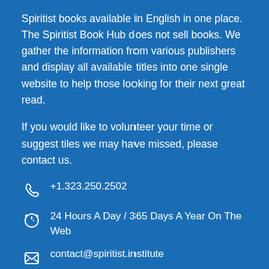Spiritist books available in English in one place. The Spiritist Book Hub does not sell books. We gather the information from various publishers and display all available titles into one single website to help those looking for their next great read.
If you would like to volunteer your time or suggest tiles we may have missed, please contact us.
+1.323.250.2502
24 Hours A Day / 365 Days A Year On The Web
contact@spiritist.institute